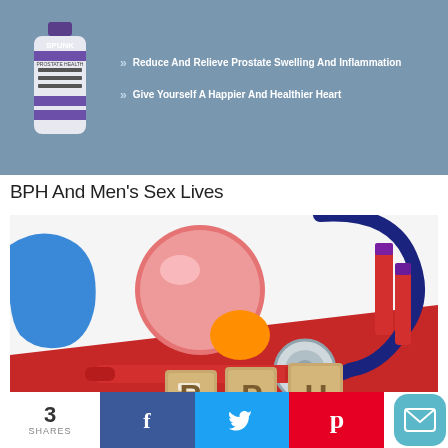[Figure (photo): Top banner advertisement for SPUNK prostate health supplement with a bottle image on the left and bullet points on the right on a steel-blue background]
» Reduce And Relieve Prostate Swelling And Inflammation
» Give Yourself A Happier And Healthier Heart
BPH And Men's Sex Lives
[Figure (photo): Medical photo showing anatomical model of prostate/bladder, stethoscope, blood collection tubes, and wooden block letters spelling BPH on a red and white background]
Urinary Issues And What To Do About It
[Figure (photo): Partially visible third article image at bottom of page]
3 SHARES  Facebook  Twitter  Pinterest  Email